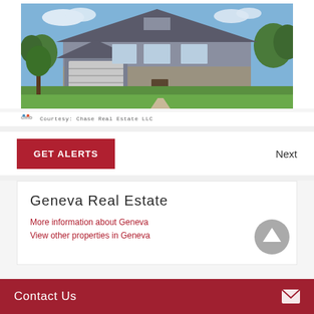[Figure (photo): Exterior photo of a large two-story residential home with gray siding, stone accents, green lawn, and blue sky background]
Courtesy: Chase Real Estate LLC
GET ALERTS
Next
Geneva Real Estate
More information about Geneva
View other properties in Geneva
Contact Us